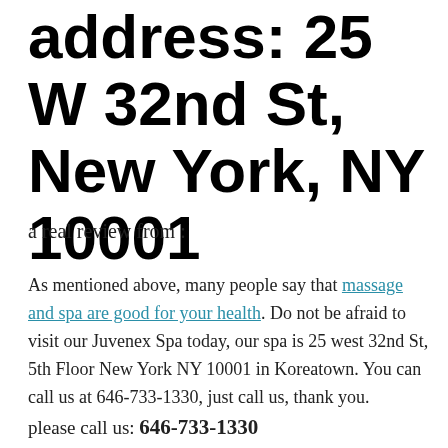address: 25 W 32nd St, New York, NY 10001
a real review from :
As mentioned above, many people say that massage and spa are good for your health. Do not be afraid to visit our Juvenex Spa today, our spa is 25 west 32nd St, 5th Floor New York NY 10001 in Koreatown. You can call us at 646-733-1330, just call us, thank you.
please call us: 646-733-1330